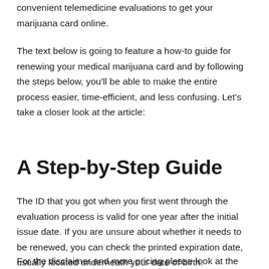convenient telemedicine evaluations to get your marijuana card online.
The text below is going to feature a how-to guide for renewing your medical marijuana card and by following the steps below, you'll be able to make the entire process easier, time-efficient, and less confusing. Let's take a closer look at the article:
A Step-by-Step Guide
The ID that you got when you first went through the evaluation process is valid for one year after the initial issue date. If you are unsure about whether it needs to be renewed, you can check the printed expiration date, usually located underneath your date of birth.
For the disclaimer and more pricing please look at the